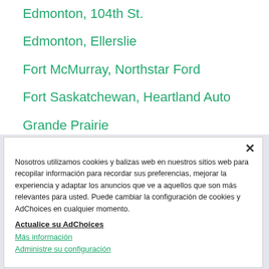Edmonton, 104th St.
Edmonton, Ellerslie
Fort McMurray, Northstar Ford
Fort Saskatchewan, Heartland Auto
Grande Prairie
High River, Toyota
Leduc
Nosotros utilizamos cookies y balizas web en nuestros sitios web para recopilar información para recordar sus preferencias, mejorar la experiencia y adaptar los anuncios que ve a aquellos que son más relevantes para usted. Puede cambiar la configuración de cookies y AdChoices en cualquier momento.
Actualice su AdChoices
Más información
Administre su configuración